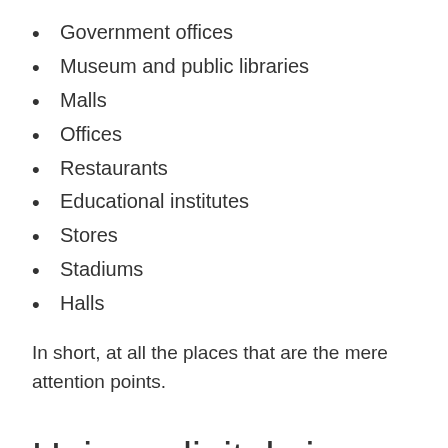Government offices
Museum and public libraries
Malls
Offices
Restaurants
Educational institutes
Stores
Stadiums
Halls
In short, at all the places that are the mere attention points.
Unique digital signs are a tremendous stand-out in the market